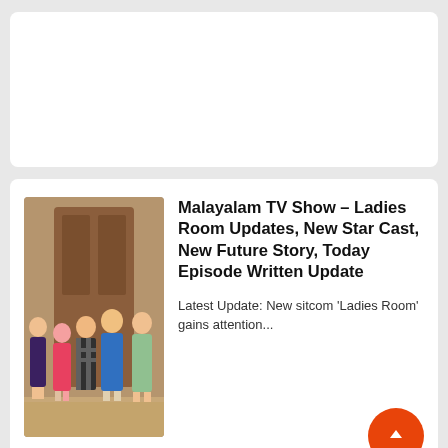[Figure (other): White card placeholder / advertisement area at top]
[Figure (photo): Group photo of several women standing together in front of a door, for Ladies Room TV show article]
Malayalam TV Show - Ladies Room Updates, New Star Cast, New Future Story, Today Episode Written Update
Latest Update: New sitcom 'Ladies Room' gains attention...
[Figure (photo): Dark promotional image for 2022 Kannada Reality Show article]
2022 Kannada Reality Show